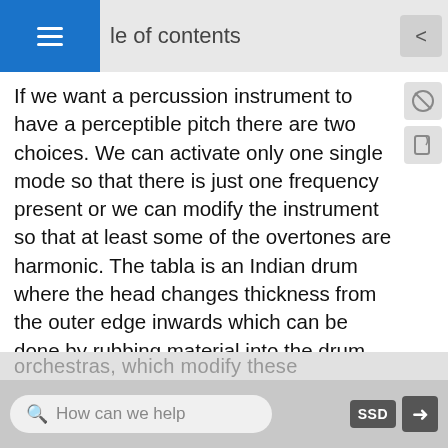≡ le of contents
If we want a percussion instrument to have a perceptible pitch there are two choices. We can activate only one single mode so that there is just one frequency present or we can modify the instrument so that at least some of the overtones are harmonic. The tabla is an Indian drum where the head changes thickness from the outer edge inwards which can be done by rubbing material into the drum head. This shifts the overtones to be harmonic so that the tabla has a specific pitch, as can be heard in this tabla YouTube video.
The tympani or kettle drum used in symphony
How can we help